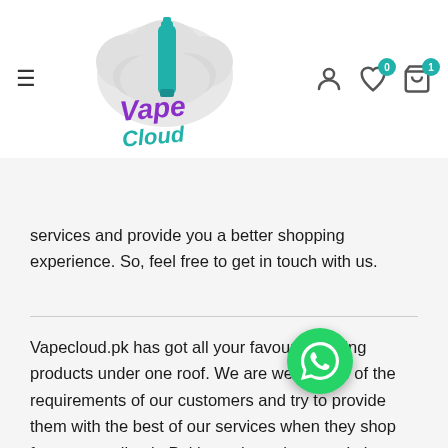Vape Cloud navigation header with logo, hamburger menu, user icon, wishlist (0), and cart (1)
services and provide you a better shopping experience. So, feel free to get in touch with us.
Vapecloud.pk has got all your favourite vaping products under one roof. We are well aware of the requirements of our customers and try to provide them with the best of our services when they shop for vapes online in Pakistan through our website. We're super responsive in terms of customer support and it will help us in fulfilling our vision to make Vapecloud.pk the best online store to buy vapes in Pakistan and all over Pakistan. We'll try to make sure that online shoppers on our website never return empty-handed, instead, they should take